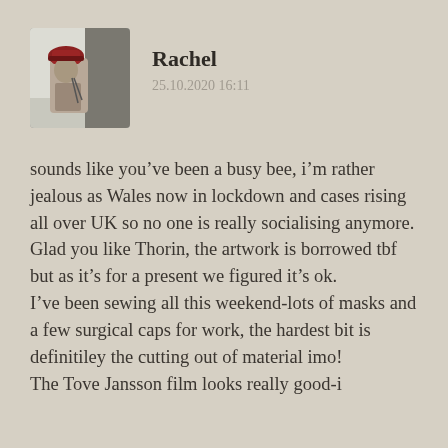[Figure (photo): Avatar photo of user Rachel showing a toy or figurine with a red hat]
Rachel
25.10.2020 16:11
sounds like you’ve been a busy bee, i’m rather jealous as Wales now in lockdown and cases rising all over UK so no one is really socialising anymore.
Glad you like Thorin, the artwork is borrowed tbf but as it’s for a present we figured it’s ok.
I’ve been sewing all this weekend-lots of masks and a few surgical caps for work, the hardest bit is definitiley the cutting out of material imo!
The Tove Jansson film looks really good-i